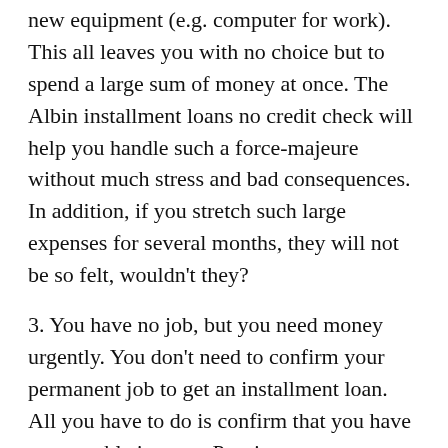new equipment (e.g. computer for work). This all leaves you with no choice but to spend a large sum of money at once. The Albin installment loans no credit check will help you handle such a force-majeure without much stress and bad consequences. In addition, if you stretch such large expenses for several months, they will not be so felt, wouldn't they?
3. You have no job, but you need money urgently. You don't need to confirm your permanent job to get an installment loan. All you have to do is confirm that you have some stable income. Pension payments, social security payments, income from renting out your apartment will be suitable for this.
4. You need to make a big purchase. It could be anything. Spending a large amount at once is quite difficult. It could be a hole in the budget. Besides, sometimes there may just be no money. Loans can soften the impact. And you don't have to worry about not being given the money for that purpose, because. The installment loans bad credit...